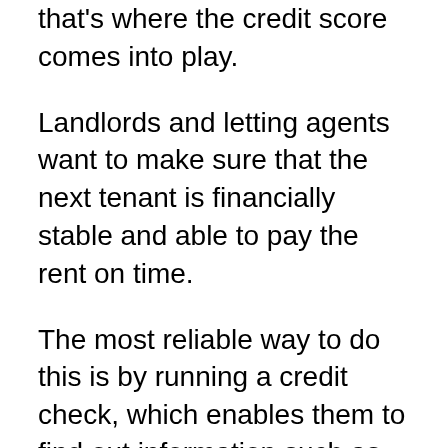that's where the credit score comes into play.
Landlords and letting agents want to make sure that the next tenant is financially stable and able to pay the rent on time.
The most reliable way to do this is by running a credit check, which enables them to find out information such as previous bankruptcies and debts, as well as rental history. All of these details add up to make your credit score. A good score could indicate that you're good with money, and therefore a good choice of tenant. A bad score on the other hand, might cause you some